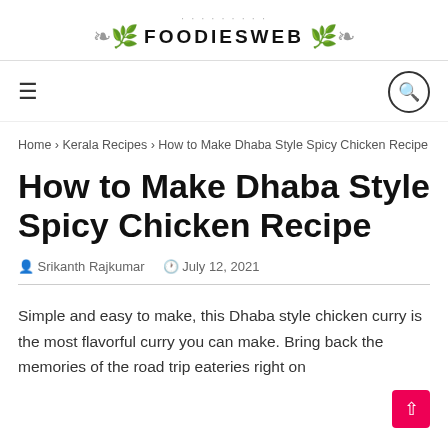FOODIESWEB
Home > Kerala Recipes > How to Make Dhaba Style Spicy Chicken Recipe
How to Make Dhaba Style Spicy Chicken Recipe
Srikanth Rajkumar   July 12, 2021
Simple and easy to make, this Dhaba style chicken curry is the most flavorful curry you can make. Bring back the memories of the road trip eateries right on